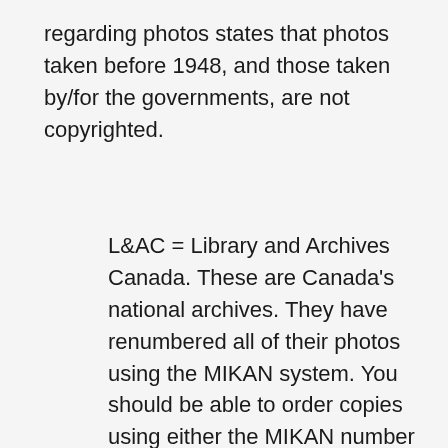regarding photos states that photos taken before 1948, and those taken by/for the governments, are not copyrighted.
L&AC = Library and Archives Canada. These are Canada's national archives. They have renumbered all of their photos using the MIKAN system. You should be able to order copies using either the MIKAN number or the old catalogue numbers. Note that their captions are not always correct. Wartime photographers were however usually good about dates and captions. An exception though are the colour photos which seem to have had guesswork used in cataloguing by archivists. Librabry and Archives Canada has many errors in their catalogue, specifically facility photos.